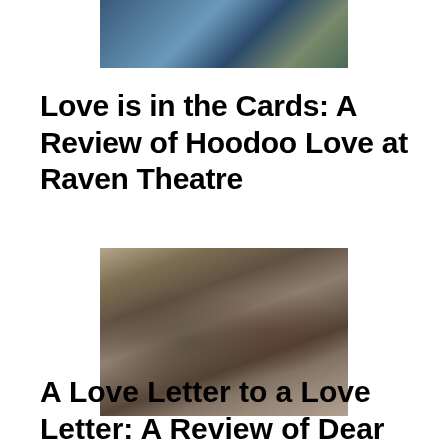[Figure (photo): Theater stage performance photo, partially cropped at top of page]
Love is in the Cards: A Review of Hoodoo Love at Raven Theatre
[Figure (photo): Two actors (a man and a woman) sitting on a trunk on a theater stage, period costume, warm brown tones]
A Love Letter to a Love Letter: A Review of Dear Jack, Dear